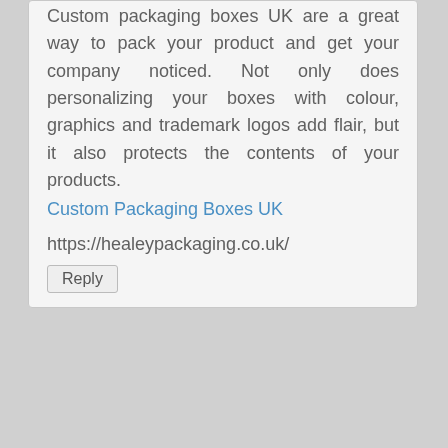Custom packaging boxes UK are a great way to pack your product and get your company noticed. Not only does personalizing your boxes with colour, graphics and trademark logos add flair, but it also protects the contents of your products.
Custom Packaging Boxes UK
https://healeypackaging.co.uk/
Reply
อออออออออ
Buying a business does not have to be a complicated endeavor when the proper process and methodology is followed. In this article, we outline eleven specific steps that should be adhered to when buying a business and bank financing is planned to be utilized. อออออออออ